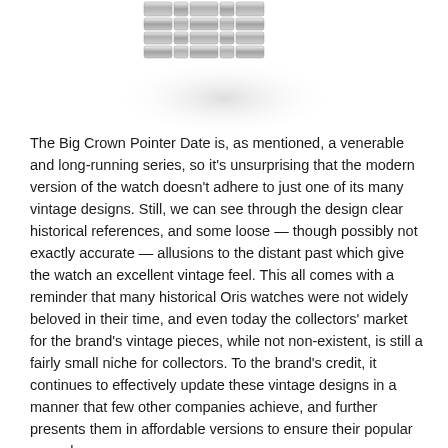[Figure (photo): Close-up photograph of a silver metal watch bracelet/band, shown from above against a white background with soft shadow.]
The Big Crown Pointer Date is, as mentioned, a venerable and long-running series, so it's unsurprising that the modern version of the watch doesn't adhere to just one of its many vintage designs. Still, we can see through the design clear historical references, and some loose — though possibly not exactly accurate — allusions to the distant past which give the watch an excellent vintage feel. This all comes with a reminder that many historical Oris watches were not widely beloved in their time, and even today the collectors' market for the brand's vintage pieces, while not non-existent, is still a fairly small niche for collectors. To the brand's credit, it continues to effectively update these vintage designs in a manner that few other companies achieve, and further presents them in affordable versions to ensure their popular appeal.